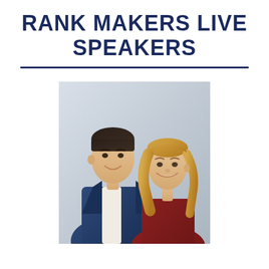RANK MAKERS LIVE SPEAKERS
[Figure (photo): Professional headshot photo of a man and woman couple. The man is on the left wearing a dark blue suit with white shirt, dark hair, smiling. The woman is on the right with long blonde wavy hair, wearing a dark red top, smiling.]